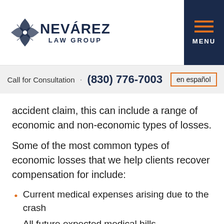[Figure (logo): Nevárez Law Group logo with stylized leaf/compass icon and dark navy text]
Call for Consultation · (830) 776-7003  en español
accident claim, this can include a range of economic and non-economic types of losses.
Some of the most common types of economic losses that we help clients recover compensation for include:
Current medical expenses arising due to the crash
All future expected medical bills
The cost of any physical therapy or rehabilitation